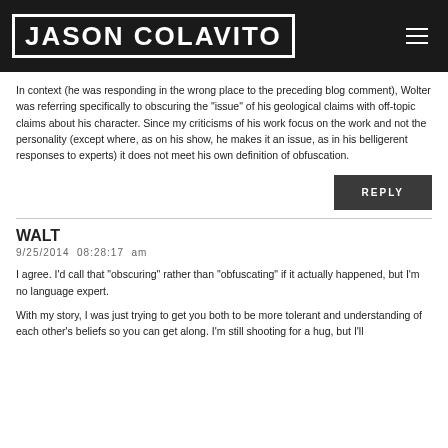JASON COLAVITO
In context (he was responding in the wrong place to the preceding blog comment), Wolter was referring specifically to obscuring the "issue" of his geological claims with off-topic claims about his character. Since my criticisms of his work focus on the work and not the personality (except where, as on his show, he makes it an issue, as in his belligerent responses to experts) it does not meet his own definition of obfuscation.
REPLY
WALT
9/25/2014  08:28:17  am
I agree. I'd call that "obscuring" rather than "obfuscating" if it actually happened, but I'm no language expert.
With my story, I was just trying to get you both to be more tolerant and understanding of each other's beliefs so you can get along. I'm still shooting for a hug, but I'll